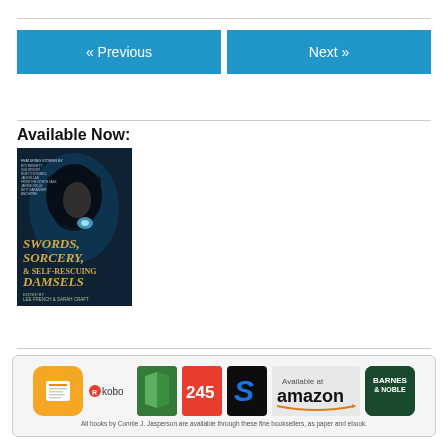« Previous
Next »
Available Now:
[Figure (illustration): Book cover for 'Swords, Sorcery, & Self-Rescuing Damsels' edited by Lee French & Sarah Craft. Dark fantasy cover with a hooded figure.]
[Figure (infographic): Bookseller banner showing logos for iBooks, Kobo, 24Symbols, Scribd, Amazon, and Barnes & Noble with text: All books by Connie J. Jasperson are available through these fine booksellers, as paper and ebook.]